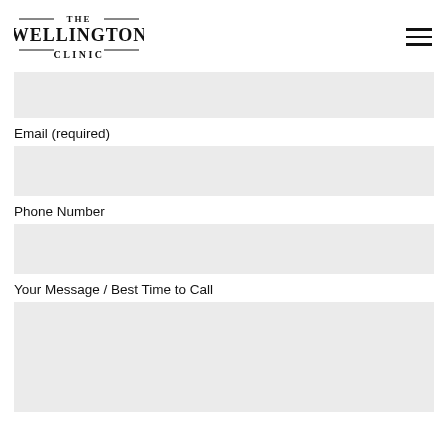THE WELLINGTON CLINIC
Email (required)
Phone Number
Your Message / Best Time to Call